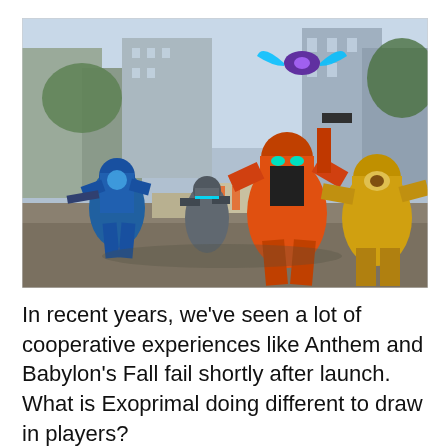[Figure (photo): Screenshot from the video game Exoprimal showing armored exosuit characters in a post-apocalyptic city street setting. Characters include a blue exosuit on the left, a silver/gray exosuit in the middle-left, a large orange and black exosuit in the center foreground, and a yellow exosuit on the right. A winged creature or drone appears above. Background shows damaged urban buildings.]
In recent years, we've seen a lot of cooperative experiences like Anthem and Babylon's Fall fail shortly after launch. What is Exoprimal doing different to draw in players?
A: The main mode, Dino Survival, changes the missions, fields, and dinosaurs that appear depending on the